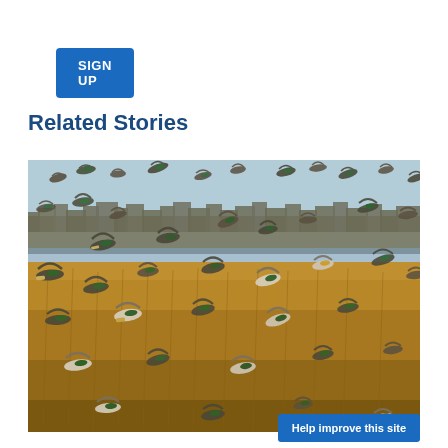SIGN UP
Related Stories
[Figure (photo): A large flock of mallard ducks taking flight over a marshy wetland with golden brown grasses and bare winter trees in the background, under a pale blue sky.]
Help improve this site